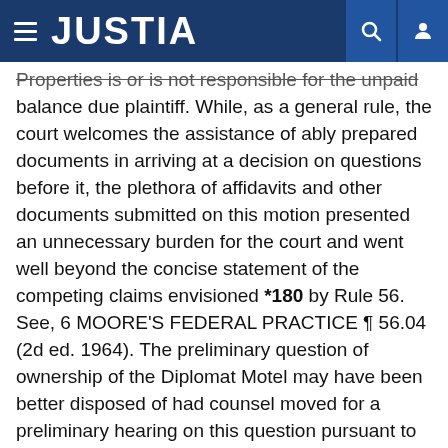JUSTIA
Properties is or is not responsible for the unpaid balance due plaintiff. While, as a general rule, the court welcomes the assistance of ably prepared documents in arriving at a decision on questions before it, the plethora of affidavits and other documents submitted on this motion presented an unnecessary burden for the court and went well beyond the concise statement of the competing claims envisioned *180 by Rule 56. See, 6 MOORE'S FEDERAL PRACTICE ¶ 56.04 (2d ed. 1964). The preliminary question of ownership of the Diplomat Motel may have been better disposed of had counsel moved for a preliminary hearing on this question pursuant to Rule 12(d), Fed.R. Civ.P. instead of attempting to have the entire dispute resolved on affidavits filed in support of motions for summary judgment.
The motion to dismiss the complaint for failure to state